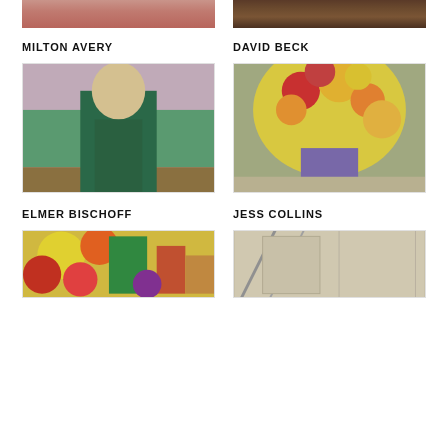[Figure (photo): Partial view of Milton Avery artwork - textured pinkish surface]
[Figure (photo): Partial view of David Beck artwork - dark textured surface]
MILTON AVERY
DAVID BECK
[Figure (photo): Elmer Bischoff painting - figure in green standing in landscape]
[Figure (photo): Jess Collins painting - colorful floral bouquet in vase]
ELMER BISCHOFF
JESS COLLINS
[Figure (photo): Partial view of colorful abstract painting - reds, yellows, greens]
[Figure (photo): Partial view of geometric painting with beige/grey tones and diagonal lines]